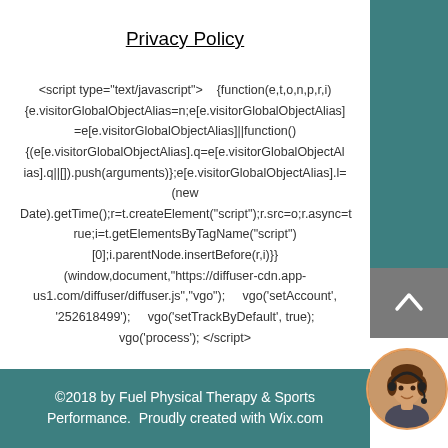Privacy Policy
<script type="text/javascript">   {function(e,t,o,n,p,r,i) {e.visitorGlobalObjectAlias=n;e[e.visitorGlobalObjectAlias] =e[e.visitorGlobalObjectAlias]||function() {(e[e.visitorGlobalObjectAlias].q=e[e.visitorGlobalObjectAlias].q||[]).push(arguments)};e[e.visitorGlobalObjectAlias].l= (new Date).getTime();r=t.createElement("script");r.src=o;r.async=t rue;i=t.getElementsByTagName("script") [0];i.parentNode.insertBefore(r,i)}} (window,document,"https://diffuser-cdn.app-us1.com/diffuser/diffuser.js","vgo");   vgo('setAccount', '252618499');   vgo('setTrackByDefault', true); vgo('process'); </script>
©2018 by Fuel Physical Therapy & Sports Performance.  Proudly created with Wix.com